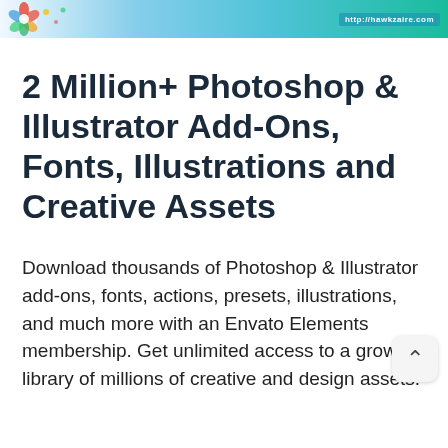[Figure (illustration): Website header banner with colorful floral/decorative logo on the left and a URL (http://hawkzaire.com or similar) on the right, with teal/cyan gradient background]
2 Million+ Photoshop & Illustrator Add-Ons, Fonts, Illustrations and Creative Assets
Download thousands of Photoshop & Illustrator add-ons, fonts, actions, presets, illustrations, and much more with an Envato Elements membership. Get unlimited access to a growing library of millions of creative and design assets.